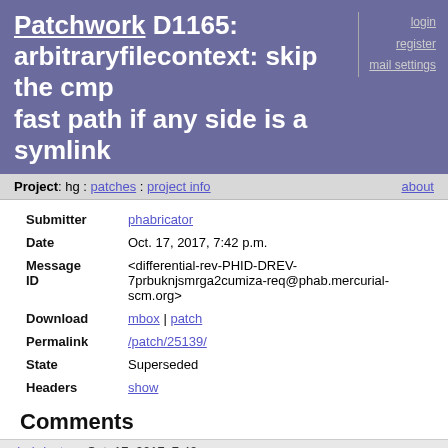Patchwork D1165: arbitraryfilecontext: skip the cmp fast path if any side is a symlink
login
register
mail settings
Project: hg : patches : project info | about
| Field | Value |
| --- | --- |
| Submitter | phabricator |
| Date | Oct. 17, 2017, 7:42 p.m. |
| Message ID | <differential-rev-PHID-DREV-7prbuknjsmrga2cumiza-req@phab.mercurial-scm.org> |
| Download | mbox | patch |
| Permalink | /patch/25139/ |
| State | Superseded |
| Headers | show |
Comments
phabricator - Oct. 17, 2017, 7:42 p.m.
phillco created this revision.
Herald added a subscriber: mercurial-devel